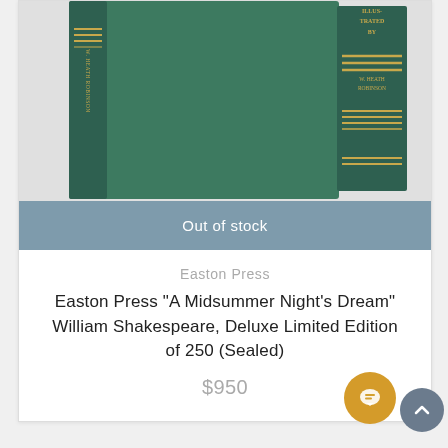[Figure (photo): Photo of two green hardcover books: one shown spine-on-left standing upright (Easton Press A Midsummer Night's Dream illustrated by W. Heath Robinson), and one shown spine-view on right with gold lettering 'ILLUSTRATED BY W. HEATH ROBINSON' and gold decorative lines.]
Out of stock
Easton Press
Easton Press "A Midsummer Night's Dream" William Shakespeare, Deluxe Limited Edition of 250 (Sealed)
$950